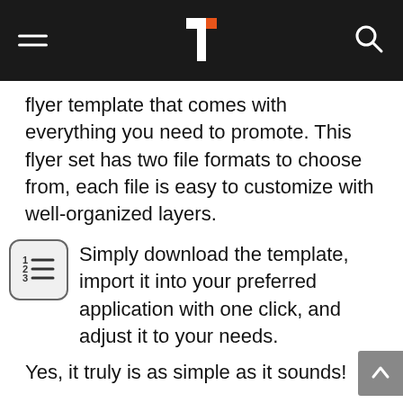[Navigation bar with hamburger menu, logo, and search icon]
flyer template that comes with everything you need to promote. This flyer set has two file formats to choose from, each file is easy to customize with well-organized layers.
Simply download the template, import it into your preferred application with one click, and adjust it to your needs.
Yes, it truly is as simple as it sounds!
Additionally, You will get all texts, images, and